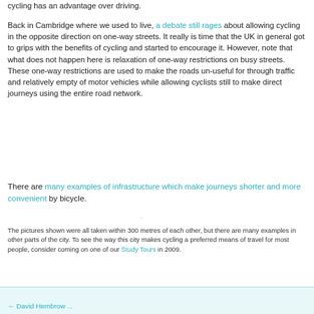cycling has an advantage over driving.
Back in Cambridge where we used to live, a debate still rages about allowing cycling in the opposite direction on one-way streets. It really is time that the UK in general got to grips with the benefits of cycling and started to encourage it. However, note that what does not happen here is relaxation of one-way restrictions on busy streets. These one-way restrictions are used to make the roads un-useful for through traffic and relatively empty of motor vehicles while allowing cyclists still to make direct journeys using the entire road network.
There are many examples of infrastructure which make journeys shorter and more convenient by bicycle.
The pictures shown were all taken within 300 metres of each other, but there are many examples in other parts of the city. To see the way this city makes cycling a preferred means of travel for most people, consider coming on one of our Study Tours in 2009.